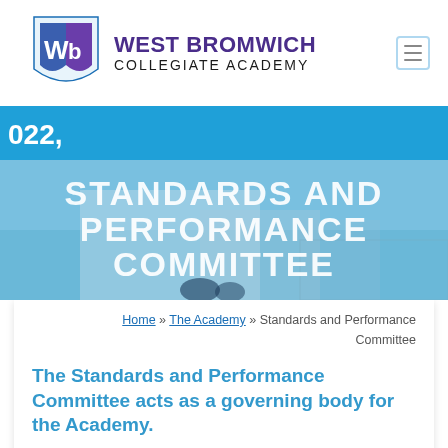WEST BROMWICH COLLEGIATE ACADEMY
022,
[Figure (photo): College building exterior with students in foreground, blue sky background. Overlaid text: STANDARDS AND PERFORMANCE COMMITTEE]
Home » The Academy » Standards and Performance Committee
The Standards and Performance Committee acts as a governing body for the Academy.
As a Trust we also have a Board of Trustees who